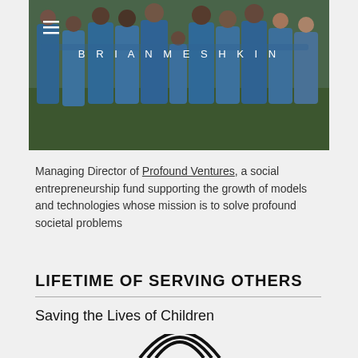[Figure (photo): Group of people in blue t-shirts standing with arms around each other, viewed from behind, outdoors on grass. Website header image for Brian Meshkin with hamburger menu icon and name overlaid.]
Managing Director of Profound Ventures, a social entrepreneurship fund supporting the growth of models and technologies whose mission is to solve profound societal problems
LIFETIME OF SERVING OTHERS
Saving the Lives of Children
[Figure (logo): Partial circular logo visible at bottom of page]